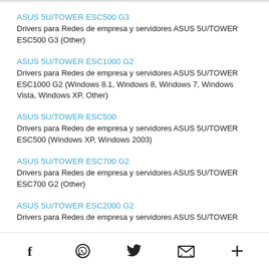ASUS 5U/TOWER ESC500 G3
Drivers para Redes de empresa y servidores ASUS 5U/TOWER ESC500 G3 (Other)
ASUS 5U/TOWER ESC1000 G2
Drivers para Redes de empresa y servidores ASUS 5U/TOWER ESC1000 G2 (Windows 8.1, Windows 8, Windows 7, Windows Vista, Windows XP, Other)
ASUS 5U/TOWER ESC500
Drivers para Redes de empresa y servidores ASUS 5U/TOWER ESC500 (Windows XP, Windows 2003)
ASUS 5U/TOWER ESC700 G2
Drivers para Redes de empresa y servidores ASUS 5U/TOWER ESC700 G2 (Other)
ASUS 5U/TOWER ESC2000 G2
Drivers para Redes de empresa y servidores ASUS 5U/TOWER ESC2000 G2 (...)
f  [WhatsApp]  [Twitter]  [Email]  +